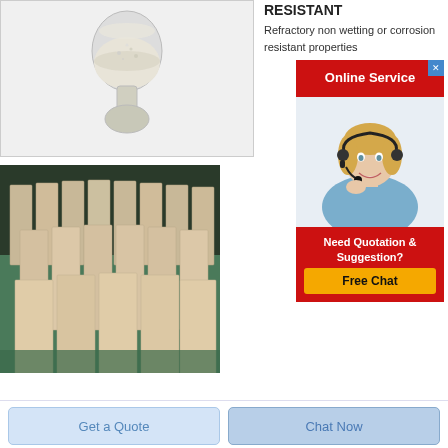[Figure (photo): Photo of white/cream powder or granular material in a glass bottle/vase on white background]
RESISTANT
Refractory non wetting or corrosion resistant properties
[Figure (photo): Photo of multiple tall rectangular refractory bricks standing upright in rows on a green floor in an industrial setting]
[Figure (infographic): Online Service popup banner with red background, close X button, image of female customer service agent with headset, 'Need Quotation & Suggestion?' text, and yellow 'Free Chat' button]
Get a Quote
Chat Now